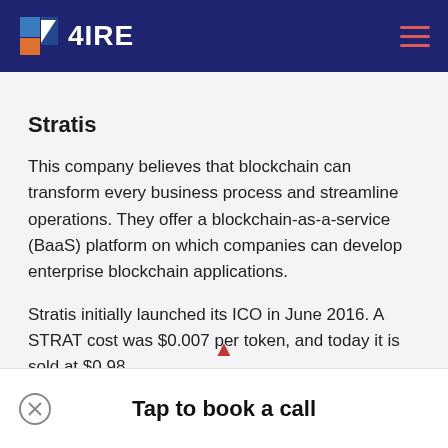4IRE
Stratis
This company believes that blockchain can transform every business process and streamline operations. They offer a blockchain-as-a-service (BaaS) platform on which companies can develop enterprise blockchain applications.
Stratis initially launched its ICO in June 2016. A STRAT cost was $0.007 per token, and today it is sold at $0.98
Tap to book a call